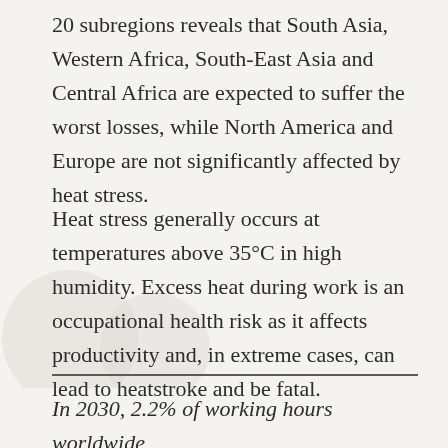20 subregions reveals that South Asia, Western Africa, South-East Asia and Central Africa are expected to suffer the worst losses, while North America and Europe are not significantly affected by heat stress.
Heat stress generally occurs at temperatures above 35°C in high humidity. Excess heat during work is an occupational health risk as it affects productivity and, in extreme cases, can lead to heatstroke and be fatal.
In 2030, 2.2% of working hours worldwide,